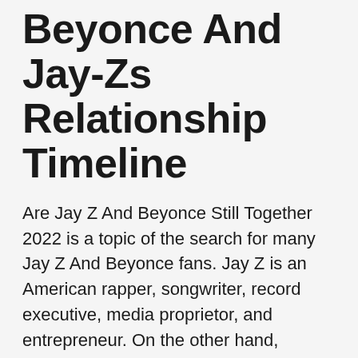Beyonce And Jay-Zs Relationship Timeline
Are Jay Z And Beyonce Still Together 2022 is a topic of the search for many Jay Z And Beyonce fans. Jay Z is an American rapper, songwriter, record executive, media proprietor, and entrepreneur. On the other hand, Beyonce is an American singer, songwriter, and actress. The couple is married and their fans are curious to know Are Jay Z And Beyonce Still Together 2022. Stay with the page and know Are Jay Z And